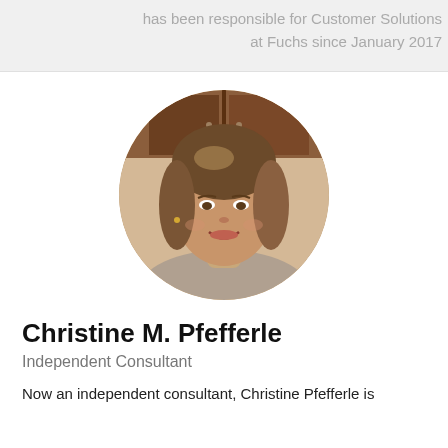has been responsible for Customer Solutions at Fuchs since January 2017
[Figure (photo): Circular profile photo of Christine M. Pfefferle, a woman with shoulder-length wavy brown hair, smiling, in an office setting with wooden shelving in background.]
Christine M. Pfefferle
Independent Consultant
Now an independent consultant, Christine Pfefferle is